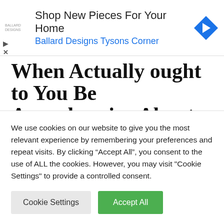[Figure (other): Advertisement banner for Ballard Designs Tysons Corner with navigation arrow diamond icon]
When Actually ought to You Be Apprehensive About Your Goiter?
August 22, 2022
We use cookies on our website to give you the most relevant experience by remembering your preferences and repeat visits. By clicking “Accept All”, you consent to the use of ALL the cookies. However, you may visit "Cookie Settings" to provide a controlled consent.